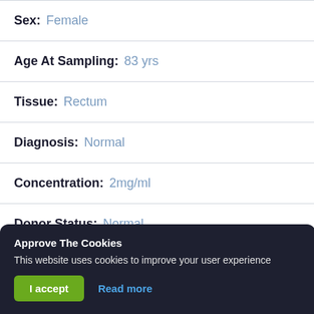Sex: Female
Age At Sampling: 83 yrs
Tissue: Rectum
Diagnosis: Normal
Concentration: 2mg/ml
Donor Status: Normal
Approve The Cookies
This website uses cookies to improve your user experience
I accept  Read more